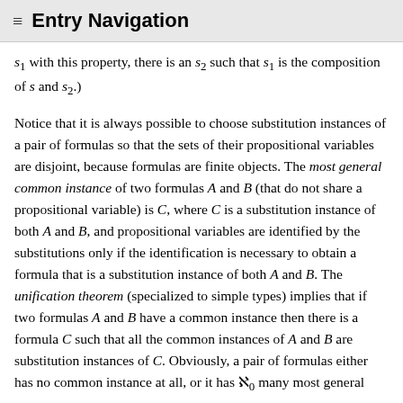≡ Entry Navigation
s₁ with this property, there is an s₂ such that s₁ is the composition of s and s₂.)
Notice that it is always possible to choose substitution instances of a pair of formulas so that the sets of their propositional variables are disjoint, because formulas are finite objects. The most general common instance of two formulas A and B (that do not share a propositional variable) is C, where C is a substitution instance of both A and B, and propositional variables are identified by the substitutions only if the identification is necessary to obtain a formula that is a substitution instance of both A and B. The unification theorem (specialized to simple types) implies that if two formulas A and B have a common instance then there is a formula C such that all the common instances of A and B are substitution instances of C. Obviously, a pair of formulas either has no common instance at all, or it has ℵ₀ many most general common instances.